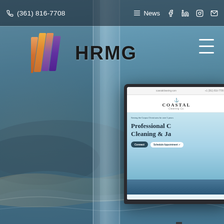(361) 816-7708  News
[Figure (screenshot): HRMG website header with logo (colorful overlapping panels) and HRMG text, shown against a coastal aerial background photo, with a monitor mockup showing Coastal Cleaning & Janitorial website]
HRMG